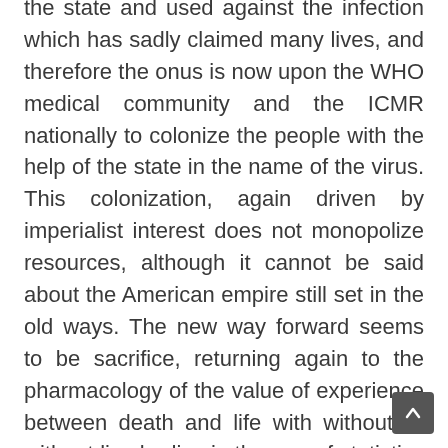the state and used against the infection which has sadly claimed many lives, and therefore the onus is now upon the WHO medical community and the ICMR nationally to colonize the people with the help of the state in the name of the virus. This colonization, again driven by imperialist interest does not monopolize resources, although it cannot be said about the American empire still set in the old ways. The new way forward seems to be sacrifice, returning again to the pharmacology of the value of experience between death and life with without or without live bodies in the age of statistics and data.
Of course there is room for Russian roulette wheel of politics, where the function of general will, which